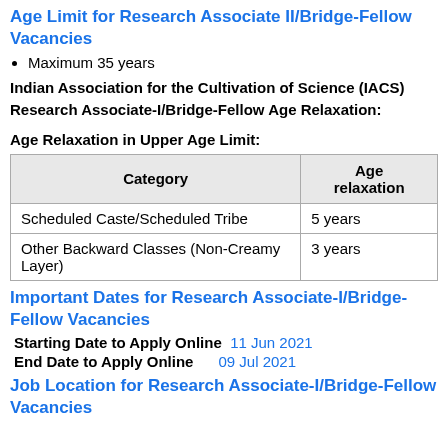Age Limit for Research Associate II/Bridge-Fellow Vacancies
Maximum 35 years
Indian Association for the Cultivation of Science (IACS) Research Associate-I/Bridge-Fellow Age Relaxation:
Age Relaxation in Upper Age Limit:
| Category | Age relaxation |
| --- | --- |
| Scheduled Caste/Scheduled Tribe | 5 years |
| Other Backward Classes (Non-Creamy Layer) | 3 years |
Important Dates for Research Associate-I/Bridge-Fellow Vacancies
Starting Date to Apply Online  11 Jun 2021
End Date to Apply Online  09 Jul 2021
Job Location for Research Associate-I/Bridge-Fellow Vacancies